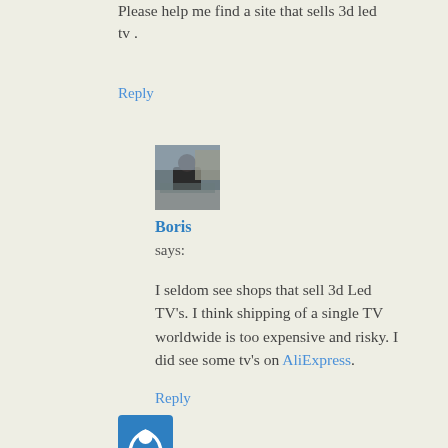Please help me find a site that sells 3d led tv .
Reply
[Figure (photo): Avatar photo of Boris, a person outdoors]
Boris
says:
I seldom see shops that sell 3d Led TV's. I think shipping of a single TV worldwide is too expensive and risky. I did see some tv's on AliExpress.
Reply
[Figure (logo): Blue square logo icon at bottom left]